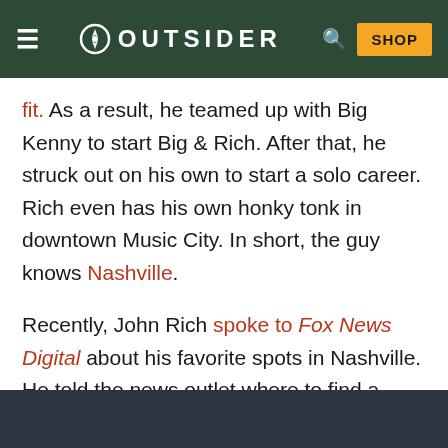OUTSIDER — navigation header with hamburger menu, logo, search, and SHOP button
fit. As a result, he teamed up with Big Kenny to start Big & Rich. After that, he struck out on his own to start a solo career. Rich even has his own honky tonk in downtown Music City. In short, the guy knows Nashville.
Recently, John Rich spoke to Fox News Digital about his favorite spots in Nashville. He told the news outlet where to find a good meal, a vintage guitar, a good deal on a new gun, and more.